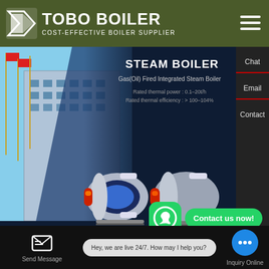[Figure (logo): TOBO BOILER logo with white icon and text on olive/dark green background bar. Hamburger menu icon on right.]
[Figure (photo): Website screenshot showing a dark-background hero banner with a building photo on the left, STEAM BOILER product text and gas/oil fired boiler product images in center, sidebar with Chat and Email options on the right.]
STEAM BOILER
Gas(Oil) Fired Integrated Steam Boiler
Rated thermal power : 0.1–20t/h
Rated thermal efficiency : > 100–104%
Chat
Email
Contact us now!
Contact
Commercial 4t Gas Boiler Dealer Moldova
Contact us now!
Hey, we are live 24/7. How may I help you?
Send Message
Inquiry Online